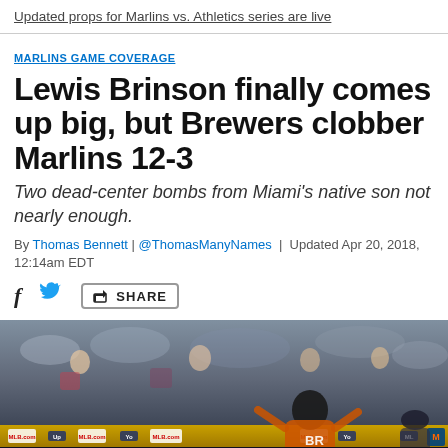Updated props for Marlins vs. Athletics series are live
MARLINS GAME COVERAGE
Lewis Brinson finally comes up big, but Brewers clobber Marlins 12-3
Two dead-center bombs from Miami's native son not nearly enough.
By Thomas Bennett | @ThomasManyNames | Updated Apr 20, 2018, 12:14am EDT
[Figure (photo): Baseball player celebrating at the dugout with crowd in background at stadium, yellow/gold advertising rail visible, player wearing Marlins uniform with 'BR' visible on jersey]